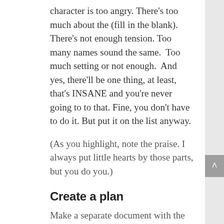character is too angry. There's too much about the (fill in the blank). There's not enough tension. Too many names sound the same.  Too much setting or not enough.  And yes, there'll be one thing, at least, that's INSANE and you're never going to to that. Fine, you don't have to do it. But put it on the list anyway.
(As you highlight, note the praise. I always put little hearts by those parts, but you do you.)
Create a plan
Make a separate document with the suggestion list you have just created.
Start small